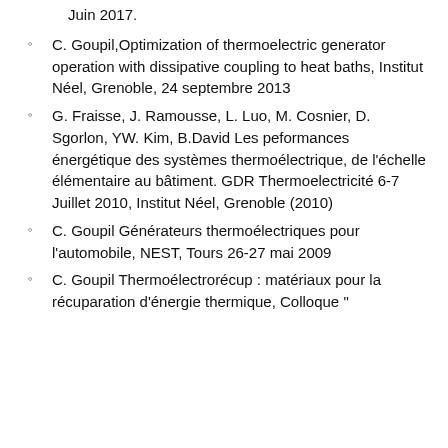Juin 2017.
C. Goupil,Optimization of thermoelectric generator operation with dissipative coupling to heat baths, Institut Néel, Grenoble, 24 septembre 2013
G. Fraisse, J. Ramousse, L. Luo, M. Cosnier, D. Sgorlon, YW. Kim, B.David Les peformances énergétique des systèmes thermoélectrique, de l'échelle élémentaire au bâtiment. GDR Thermoelectricité 6-7 Juillet 2010, Institut Néel, Grenoble (2010)
C. Goupil Générateurs thermoélectriques pour l'automobile, NEST, Tours 26-27 mai 2009
C. Goupil Thermoélectrorécup : matériaux pour la récuparation d'énergie thermique, Colloque "